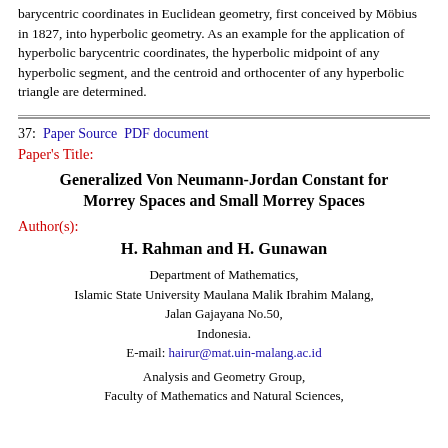barycentric coordinates in Euclidean geometry, first conceived by Möbius in 1827, into hyperbolic geometry. As an example for the application of hyperbolic barycentric coordinates, the hyperbolic midpoint of any hyperbolic segment, and the centroid and orthocenter of any hyperbolic triangle are determined.
37: Paper Source  PDF document
Paper's Title:
Generalized Von Neumann-Jordan Constant for Morrey Spaces and Small Morrey Spaces
Author(s):
H. Rahman and H. Gunawan
Department of Mathematics, Islamic State University Maulana Malik Ibrahim Malang, Jalan Gajayana No.50, Indonesia. E-mail: hairur@mat.uin-malang.ac.id
Analysis and Geometry Group, Faculty of Mathematics and Natural Sciences,